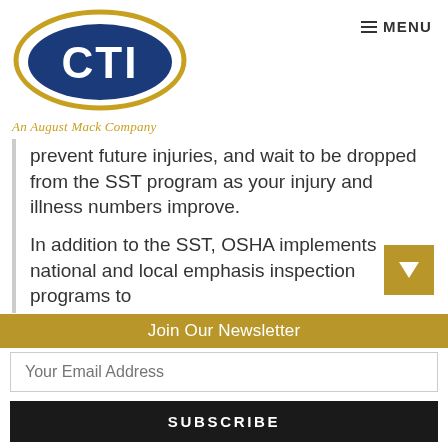[Figure (logo): CTI logo with gold oval and blue oval, text CTI inside, tagline 'An August Mack Company' below in gold italic]
prevent future injuries, and wait to be dropped from the SST program as your injury and illness numbers improve.
In addition to the SST, OSHA implements national and local emphasis inspection programs to
Join Our Newsletter
Your Email Address
SUBSCRIBE